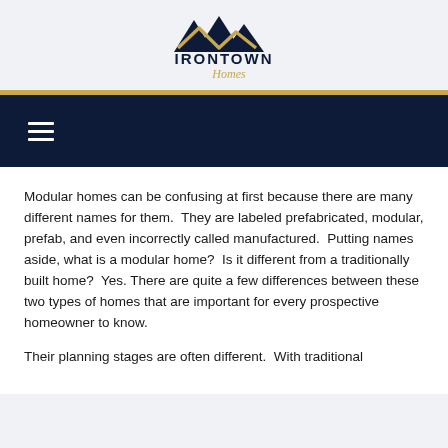[Figure (logo): Irontown Homes logo with mountain peaks in navy blue and gold, with 'IRONTOWN' in navy block letters and 'Homes' in gold script below]
☰
Modular homes can be confusing at first because there are many different names for them.  They are labeled prefabricated, modular, prefab, and even incorrectly called manufactured.  Putting names aside, what is a modular home?  Is it different from a traditionally built home?  Yes.  There are quite a few differences between these two types of homes that are important for every prospective homeowner to know.
Their planning stages are often different.  With traditional